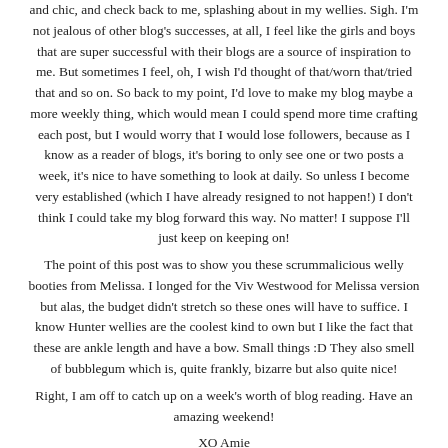and chic, and check back to me, splashing about in my wellies. Sigh. I'm not jealous of other blog's successes, at all, I feel like the girls and boys that are super successful with their blogs are a source of inspiration to me. But sometimes I feel, oh, I wish I'd thought of that/worn that/tried that and so on. So back to my point, I'd love to make my blog maybe a more weekly thing, which would mean I could spend more time crafting each post, but I would worry that I would lose followers, because as I know as a reader of blogs, it's boring to only see one or two posts a week, it's nice to have something to look at daily. So unless I become very established (which I have already resigned to not happen!) I don't think I could take my blog forward this way. No matter! I suppose I'll just keep on keeping on!
The point of this post was to show you these scrummalicious welly booties from Melissa. I longed for the Viv Westwood for Melissa version but alas, the budget didn't stretch so these ones will have to suffice. I know Hunter wellies are the coolest kind to own but I like the fact that these are ankle length and have a bow. Small things :D They also smell of bubblegum which is, quite frankly, bizarre but also quite nice!
Right, I am off to catch up on a week's worth of blog reading. Have an amazing weekend!
XO Amie
Carrie said